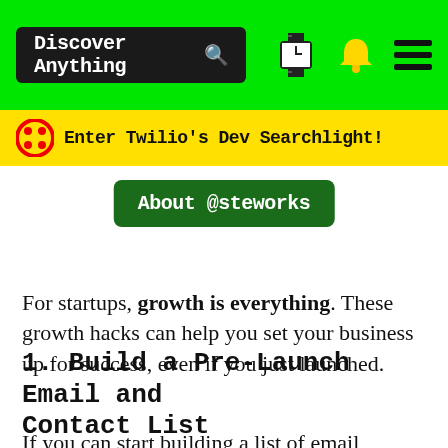[Figure (screenshot): Green navigation bar with dark search box labeled 'Discover Anything' with search icon, pixel art watch icon, yellow bell icon, and hamburger menu]
[Figure (screenshot): Yellow banner with Twilio red circle icon and text 'Enter Twilio's Dev Searchlight!']
[Figure (screenshot): Dark green button with white text 'About @steworks']
For startups, growth is everything. These growth hacks can help you set your business up for success, even if you just launched.
1. Build a Pre-Launch Email and Contact List
If you can start building a list of email contacts who